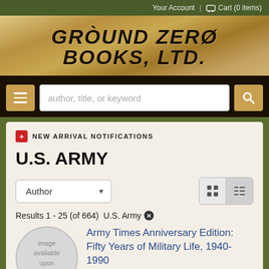Your Account | Cart (0 items)
[Figure (logo): Ground Zero Books, Ltd. logo on aged parchment background]
author, title, or keyword
NEW ARRIVAL NOTIFICATIONS
U.S. ARMY
Author
Results 1 - 25 (of 664)  U.S. Army
Army Times Anniversary Edition: Fifty Years of Military Life, 1940-1990
[Figure (illustration): Circular grey placeholder with text: image available upon request]